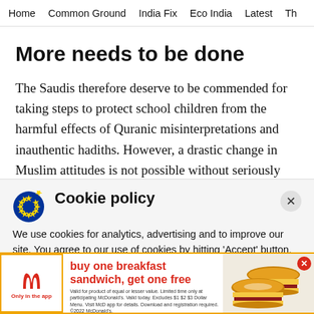Home   Common Ground   India Fix   Eco India   Latest   Th
More needs to be done
The Saudis therefore deserve to be commended for taking steps to protect school children from the harmful effects of Quranic misinterpretations and inauthentic hadiths. However, a drastic change in Muslim attitudes is not possible without seriously
Cookie policy
We use cookies for analytics, advertising and to improve our site. You agree to our use of cookies by hitting 'Accept' button, closing this message box or continuing to use our site. To find
[Figure (advertisement): McDonald's app advertisement: buy one breakfast sandwich, get one free. Only in the app. Shows two breakfast sandwiches. Fine print: Valid for product of equal or lesser value. Limited time only at participating McDonald's. Valid today. Excludes $1 $2 $3 Dollar Menu. Visit McD app for details. Download and registration required. ©2022 McDonald's.]